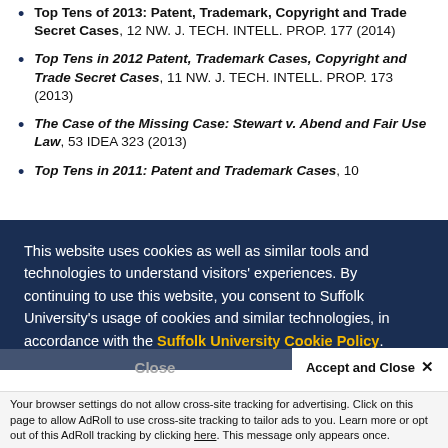Top Tens of 2013: Patent, Trademark, Copyright and Trade Secret Cases, 12 NW. J. TECH. INTELL. PROP. 177 (2014)
Top Tens in 2012 Patent, Trademark Cases, Copyright and Trade Secret Cases, 11 NW. J. TECH. INTELL. PROP. 173 (2013)
The Case of the Missing Case: Stewart v. Abend and Fair Use Law, 53 IDEA 323 (2013)
Top Tens in 2011: Patent and Trademark Cases, 10
This website uses cookies as well as similar tools and technologies to understand visitors' experiences. By continuing to use this website, you consent to Suffolk University's usage of cookies and similar technologies, in accordance with the Suffolk University Cookie Policy.
Your browser settings do not allow cross-site tracking for advertising. Click on this page to allow AdRoll to use cross-site tracking to tailor ads to you. Learn more or opt out of this AdRoll tracking by clicking here. This message only appears once.